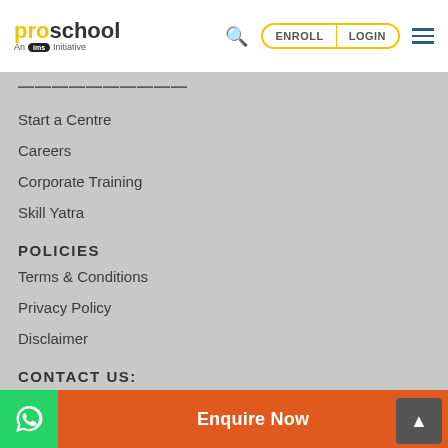proschool — An IMS Initiative | ENROLL | LOGIN
PARTNER WITH US (partially visible)
Start a Centre
Careers
Corporate Training
Skill Yatra
POLICIES
Terms & Conditions
Privacy Policy
Disclaimer
CONTACT US:
7710044425
info@proschool.in